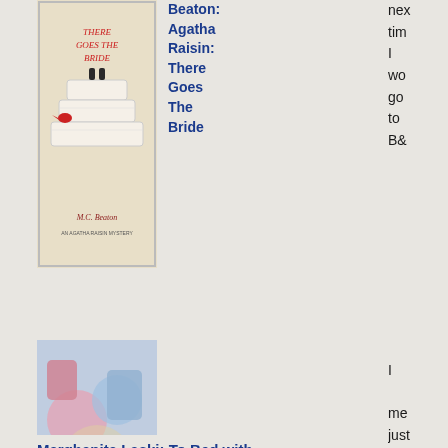[Figure (illustration): Book cover of 'There Goes The Bride' by M.C. Beaton - Agatha Raisin series, showing a wedding cake illustration]
Beaton: Agatha Raisin: There Goes The Bride
nex tim I wo go to B&
[Figure (illustration): Book cover of 'To Bed with Grand Music' by Marghanita Laski, colorful illustration]
Marghanita Laski: To Bed with Grand Music
I me just wh did the thi the we doi
[Figure (illustration): Book cover of 'The Black Ship: A Daisy Dalrymple Murder Mystery' by Carola Dunn, showing a woman with red umbrella]
Carola Dunn: The Black Ship: A Daisy
Dalrymple Murder Mystery
On the plu sid the